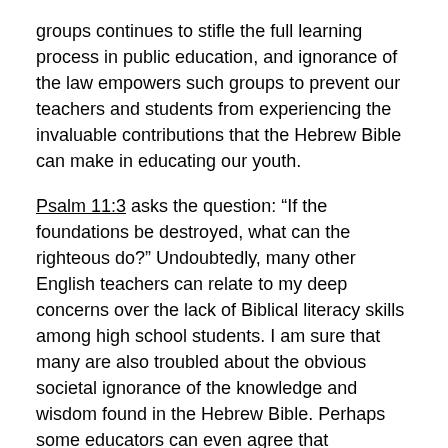groups continues to stifle the full learning process in public education, and ignorance of the law empowers such groups to prevent our teachers and students from experiencing the invaluable contributions that the Hebrew Bible can make in educating our youth.
Psalm 11:3 asks the question: “If the foundations be destroyed, what can the righteous do?” Undoubtedly, many other English teachers can relate to my deep concerns over the lack of Biblical literacy skills among high school students. I am sure that many are also troubled about the obvious societal ignorance of the knowledge and wisdom found in the Hebrew Bible. Perhaps some educators can even agree that classroom teachers have a responsibility to our students and to society to teach lessons on morals and values that will help strengthen character development. My premise is that simply agreeing with the truth is not enough. All educators must become agents of action. We must be willing to work today to produce the desired fruits that we hope will be manifested tomorrow. Why not begin repairing the breeches in our educational foundations